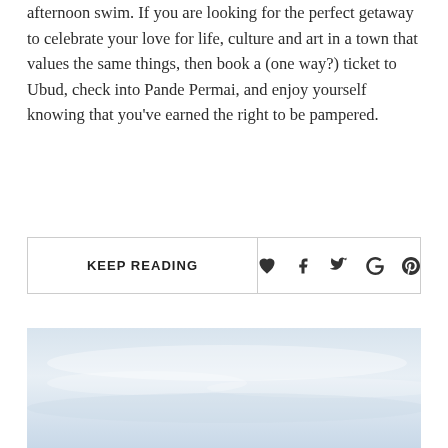afternoon swim. If you are looking for the perfect getaway to celebrate your love for life, culture and art in a town that values the same things, then book a (one way?) ticket to Ubud, check into Pande Permai, and enjoy yourself knowing that you've earned the right to be pampered.
KEEP READING [social icons: heart, facebook, twitter, google+, pinterest]
[Figure (photo): A sky photo with pale blue-grey tones and soft clouds, partially visible at the bottom of the page.]